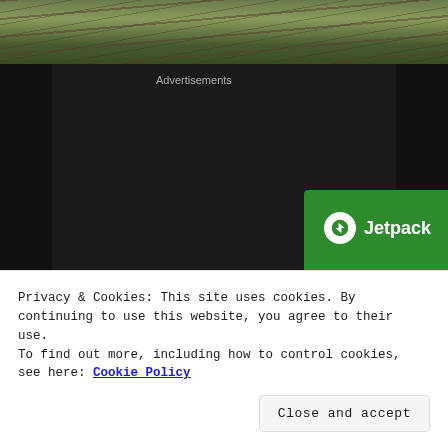[Figure (photo): Aerial or ground-level photo of a dirt field with tracks, shown as a strip at the top of the page]
Advertisements
[Figure (illustration): Jetpack advertisement banner with green background, Jetpack logo, headline 'The best real-time WordPress backup plugin', and a 'Back up your site' call-to-action button]
Privacy & Cookies: This site uses cookies. By continuing to use this website, you agree to their use.
To find out more, including how to control cookies, see here: Cookie Policy
Close and accept